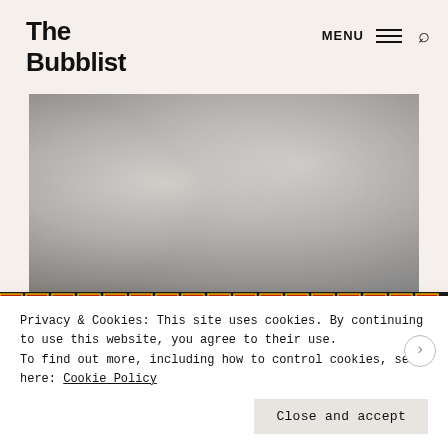The Bubblist
[Figure (photo): Black and white photograph showing a close-up of a human torso with metal staples or surgical clips visible on skin]
[Figure (other): Film strip decorative border with alternating red and yellow cells]
Privacy & Cookies: This site uses cookies. By continuing to use this website, you agree to their use.
To find out more, including how to control cookies, see here: Cookie Policy
Close and accept